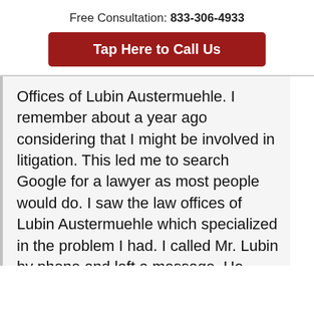Free Consultation: 833-306-4933
Tap Here to Call Us
Offices of Lubin Austermuehle. I remember about a year ago considering that I might be involved in litigation. This led me to search Google for a lawyer as most people would do. I saw the law offices of Lubin Austermuehle which specialized in the problem I had. I called Mr. Lubin by phone and left a message. He returned my call a short time later. We discussed my case over the phone and I was impressed with Mr. Lubin's insight and experiences. Although I really didn't know him my "instincts" told me this was